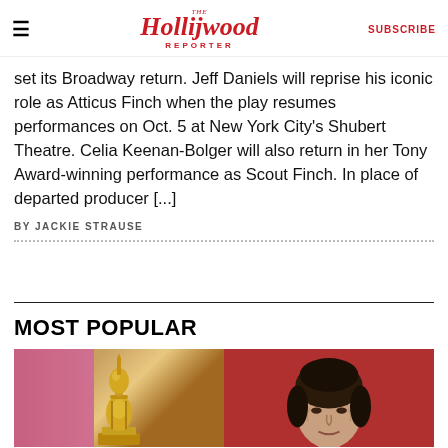The Hollywood Reporter | SUBSCRIBE
set its Broadway return. Jeff Daniels will reprise his iconic role as Atticus Finch when the play resumes performances on Oct. 5 at New York City's Shubert Theatre. Celia Keenan-Bolger will also return in her Tony Award-winning performance as Scout Finch. In place of departed producer [...]
BY JACKIE STRAUSE
MOST POPULAR
[Figure (photo): Split photo: left side shows a gold Oscar statuette against a pink curtain background; right side shows a person with dark hair pulled back against a red background.]